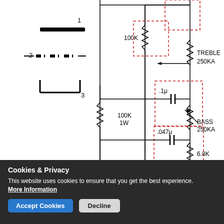[Figure (circuit-diagram): Guitar tone control circuit schematic showing pickup switch symbols (labeled 1, 2, 3), a 100K 1W resistor, a 100K resistor, a .1μ capacitor, a .047μ capacitor, TREBLE 250KA potentiometer, BASS 250KA potentiometer, and a 6.8K resistor. Capacitors are enclosed in dashed red boxes.]
Cookies & Privacy
This website uses cookies to ensure that you get the best experience.
More Information
Accept Cookies  Decline